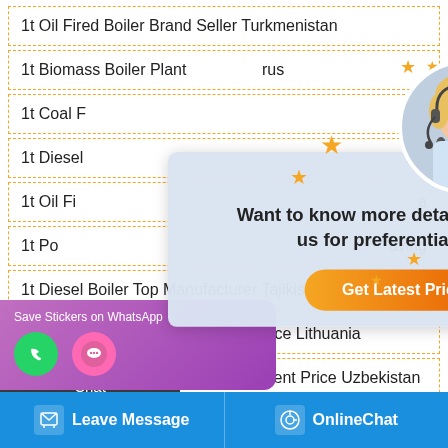1t Oil Fired Boiler Brand Seller Turkmenistan
1t Biomass Boiler Plant … rus
1t Coal F…
1t Diesel … rial
1t Oil Fi… a
1t Po… aving
1t Diesel Boiler Top Manufacturer Tajikistan
1t Natural Gas Boiler Brand Low Price Lithuania
1t Gas Boiler Brand Commercial Agent Price Uzbekistan
…aler High Efficiency Kyrgyzstan
[Figure (screenshot): Chat popup modal with agent avatar, stars decoration, text 'Want to know more details? Chat with us for preferential price!' and orange 'Get Latest Price' button]
[Figure (screenshot): Left sidebar with Chat, Email, Contact icons on dark background]
[Figure (screenshot): WhatsApp banner at bottom left with phone and chat icons]
Leave Message
OnlineChat